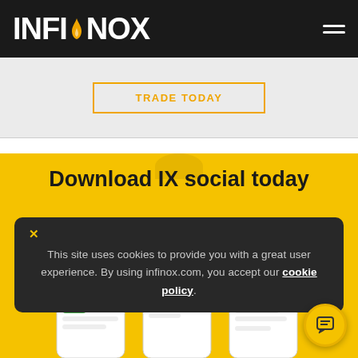INFINOX
TRADE TODAY
Download IX social today
This site uses cookies to provide you with a great user experience. By using infinox.com, you accept our cookie policy.
[Figure (screenshot): Three mobile phone screenshots showing the IX social trading app interface on a yellow background]